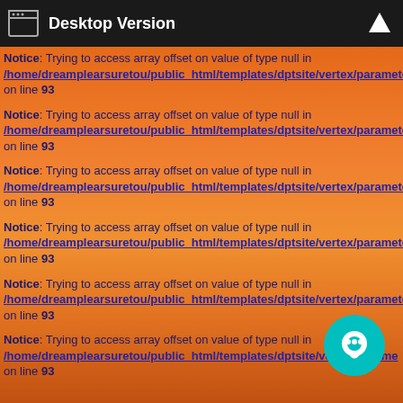Desktop Version
Notice: Trying to access array offset on value of type null in /home/dreamplearsuretou/public_html/templates/dptsite/vertex/parameters.php on line 93
Notice: Trying to access array offset on value of type null in /home/dreamplearsuretou/public_html/templates/dptsite/vertex/parameters.php on line 93
Notice: Trying to access array offset on value of type null in /home/dreamplearsuretou/public_html/templates/dptsite/vertex/parameters.php on line 93
Notice: Trying to access array offset on value of type null in /home/dreamplearsuretou/public_html/templates/dptsite/vertex/parameters.php on line 93
Notice: Trying to access array offset on value of type null in /home/dreamplearsuretou/public_html/templates/dptsite/vertex/parameters.php on line 93
Notice: Trying to access array offset on value of type null in /home/dreamplearsuretou/public_html/templates/dptsite/vertex/parameters.php on line 93